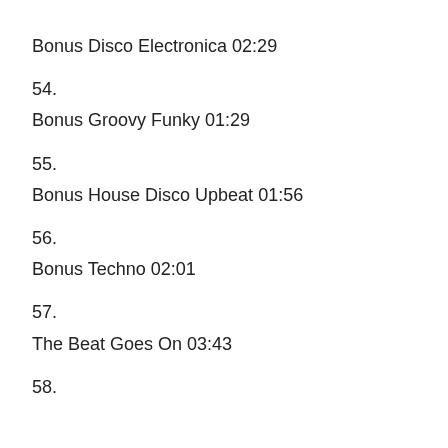Bonus Disco Electronica 02:29
54.
Bonus Groovy Funky 01:29
55.
Bonus House Disco Upbeat 01:56
56.
Bonus Techno 02:01
57.
The Beat Goes On 03:43
58.